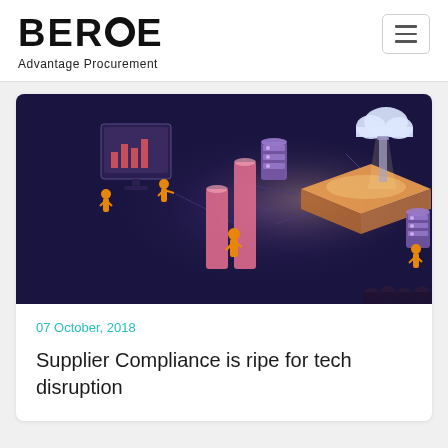BEROE Advantage Procurement
[Figure (illustration): Isometric technology illustration showing small human figures interacting with data charts, server stacks, a glowing platform/processor, and a cloud icon on a dark navy/purple background with orange and pink accents.]
07 October, 2018
Supplier Compliance is ripe for tech disruption